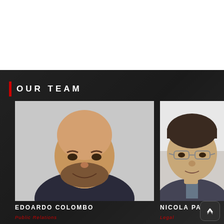Our Team
[Figure (photo): Photo of Edoardo Colombo, a bald smiling man with beard wearing a dark sweater]
[Figure (photo): Photo of Nicola Pagli, a man wearing glasses]
EDOARDO COLOMBO
Public Relations
NICOLA PAGLI
Legal